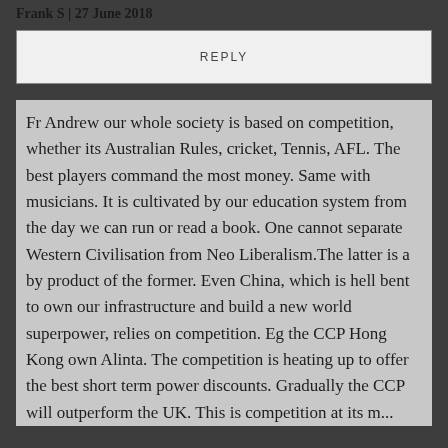Frank S | 27 June 2018
REPLY
Fr Andrew our whole society is based on competition, whether its Australian Rules, cricket, Tennis, AFL. The best players command the most money. Same with musicians. It is cultivated by our education system from the day we can run or read a book. One cannot separate Western Civilisation from Neo Liberalism.The latter is a by product of the former. Even China, which is hell bent to own our infrastructure and build a new world superpower, relies on competition. Eg the CCP Hong Kong own Alinta. The competition is heating up to offer the best short term power discounts. Gradually the CCP will outperform the UK. This is competition at its most...